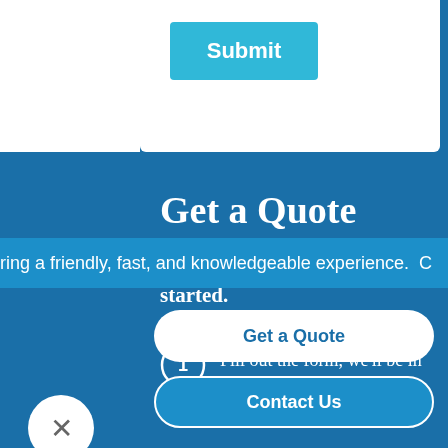[Figure (screenshot): White card section at top with a blue Submit button]
Get a Quote
It only takes a minute to get started.
1 Fill out the form, we'll be in touch.
ring a friendly, fast, and knowledgeable experience. C
Get a Quote
Contact Us